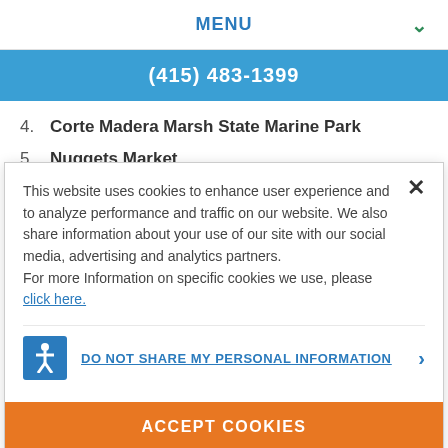MENU
(415) 483-1399
4. Corte Madera Marsh State Marine Park
5. Nuggets Market
This website uses cookies to enhance user experience and to analyze performance and traffic on our website. We also share information about your use of our site with our social media, advertising and analytics partners. For more Information on specific cookies we use, please click here.
DO NOT SHARE MY PERSONAL INFORMATION
ACCEPT COOKIES